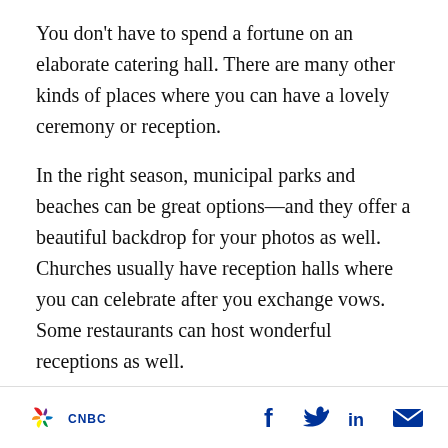You don't have to spend a fortune on an elaborate catering hall. There are many other kinds of places where you can have a lovely ceremony or reception.
In the right season, municipal parks and beaches can be great options—and they offer a beautiful backdrop for your photos as well. Churches usually have reception halls where you can celebrate after you exchange vows. Some restaurants can host wonderful receptions as well.
Keep the Food Casual
CNBC logo and social media icons (Facebook, Twitter, LinkedIn, Email)